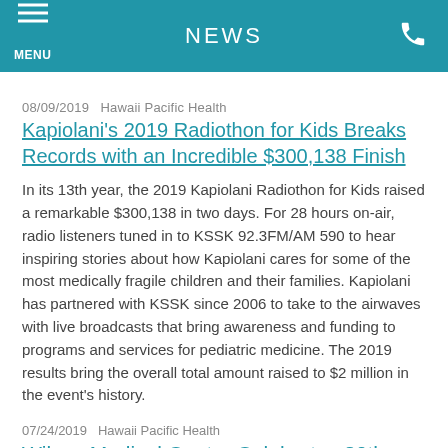NEWS
08/09/2019  Hawaii Pacific Health
Kapiolani's 2019 Radiothon for Kids Breaks Records with an Incredible $300,138 Finish
In its 13th year, the 2019 Kapiolani Radiothon for Kids raised a remarkable $300,138 in two days. For 28 hours on-air, radio listeners tuned in to KSSK 92.3FM/AM 590 to hear inspiring stories about how Kapiolani cares for some of the most medically fragile children and their families. Kapiolani has partnered with KSSK since 2006 to take to the airwaves with live broadcasts that bring awareness and funding to programs and services for pediatric medicine. The 2019 results bring the overall total amount raised to $2 million in the event's history.
07/24/2019  Hawaii Pacific Health
Wilcox Medical Center Celebrates 80th